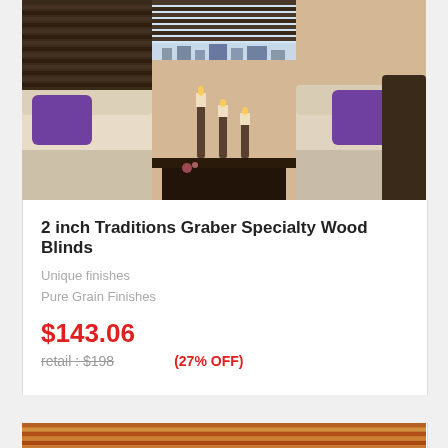[Figure (photo): Living room scene showing window blinds installed, two cream sofas with purple pillows, dark wood coffee table with candle holders, city view through window]
2 inch Traditions Graber Specialty Wood Blinds
Unique finishes
Pure Grain Finishes
$143.06
retail : $198   (27% OFF)
ADD TO CART
[Figure (photo): Partial view of a second product showing horizontal wood blinds in warm orange/brown tones]